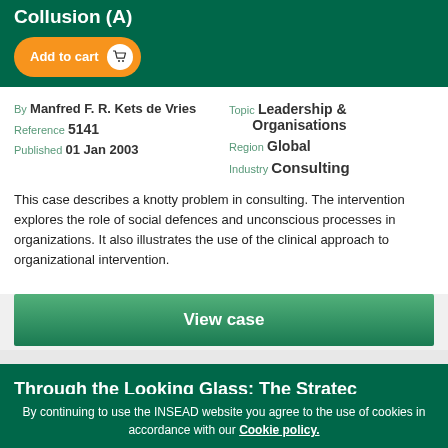Collusion (A)
By Manfred F. R. Kets de Vries
Reference 5141
Published 01 Jan 2003
Topic Leadership & Organisations
Region Global
Industry Consulting
This case describes a knotty problem in consulting. The intervention explores the role of social defences and unconscious processes in organizations. It also illustrates the use of the clinical approach to organizational intervention.
View case
Through the Looking Glass: The Stratec
By continuing to use the INSEAD website you agree to the use of cookies in accordance with our Cookie policy.